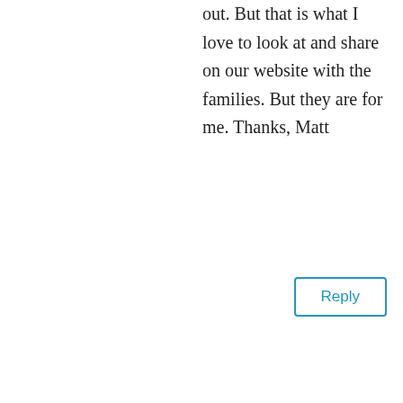out. But that is what I love to look at and share on our website with the families. But they are for me. Thanks, Matt
Reply
[Figure (illustration): Generic user avatar icon — grey circle with white person silhouette]
Gregory Scott Souchock on April 24, 2021 at 5:46 pm
Well said! You said it: The Joy of photography is not just the image and the perfect print. It's the story of getting the shot and the memories (and perhaps even bruises) of the experience: the photograph is just the